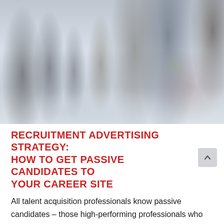[Figure (photo): Blurry photo of business professionals walking through a modern office lobby or convention center entrance, motion blur effect, people carrying bags and luggage]
RECRUITMENT ADVERTISING STRATEGY: HOW TO GET PASSIVE CANDIDATES TO YOUR CAREER SITE
All talent acquisition professionals know passive candidates – those high-performing professionals who are content in their jobs – make the best clients. Targeting passive job seekers is a smart addition to any[...]